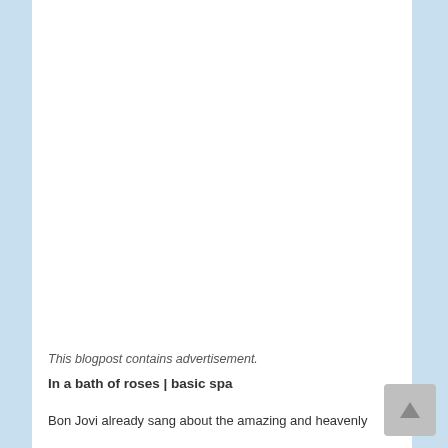This blogpost contains advertisement.
In a bath of roses | basic spa
Bon Jovi already sang about the amazing and heavenly